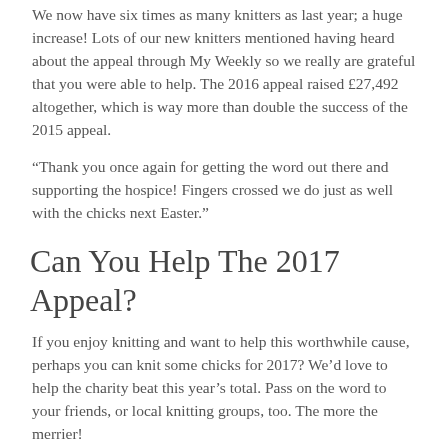We now have six times as many knitters as last year; a huge increase! Lots of our new knitters mentioned having heard about the appeal through My Weekly so we really are grateful that you were able to help. The 2016 appeal raised £27,492 altogether, which is way more than double the success of the 2015 appeal.
“Thank you once again for getting the word out there and supporting the hospice! Fingers crossed we do just as well with the chicks next Easter.”
Can You Help The 2017 Appeal?
If you enjoy knitting and want to help this worthwhile cause, perhaps you can knit some chicks for 2017? We’d love to help the charity beat this year’s total. Pass on the word to your friends, or local knitting groups, too. The more the merrier!